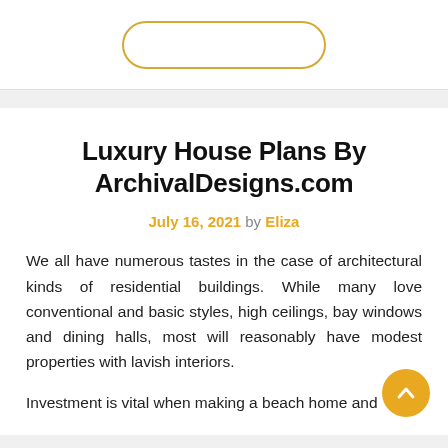[Figure (other): Top banner with a rounded rectangle button outline in gold/yellow color on white background]
Luxury House Plans By ArchivalDesigns.com
July 16, 2021 by Eliza
We all have numerous tastes in the case of architectural kinds of residential buildings. While many love conventional and basic styles, high ceilings, bay windows and dining halls, most will reasonably have modest properties with lavish interiors.
Investment is vital when making a beach home and